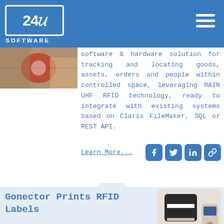[Figure (logo): 24U Software logo with white text on blue background]
[Figure (photo): Warehouse/goods tracking photo]
software & hardware solution for tracking and locating goods, assets, orders and people within controlled space, leveraging RAIN UHF RFID technology, ready to integrate with existing systems based on Claris FileMaker, SQL or REST API.
Learn More...
Gonector Prints RFID Labels
[Figure (photo): Mobile label printer (Zebra ZQ630) with smartphone]
We have made our mobile hardware integration plug-in able to print labels on the Zebra ZQ630 RFID and compatible label printers, including reading and writing UHF RFID tags embedded in the labels.